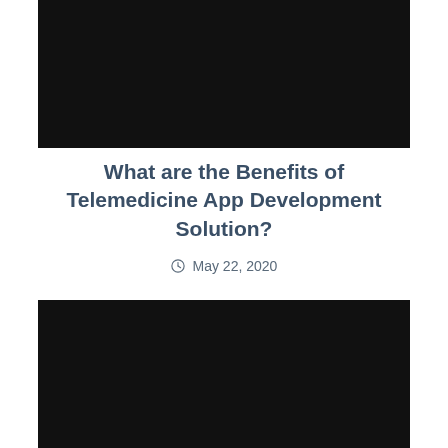[Figure (photo): Dark/black image placeholder at the top of the page]
What are the Benefits of Telemedicine App Development Solution?
May 22, 2020
[Figure (photo): Dark/black image placeholder at the bottom of the page]